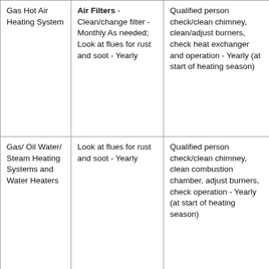| Gas Hot Air Heating System | Air Filters - Clean/change filter - Monthly As needed;
Look at flues for rust and soot - Yearly | Qualified person check/clean chimney, clean/adjust burners, check heat exchanger and operation - Yearly (at start of heating season) |
| Gas/ Oil Water/ Steam Heating Systems and Water Heaters | Look at flues for rust and soot - Yearly | Qualified person check/clean chimney, clean combustion chamber, adjust burners, check operation - Yearly (at start of heating season) |
| Kerosene | Look to see that mantle is properly seated - daily when in use; | Check and replace wick -- Yearly (at start of heating season);
Clean Combustion |